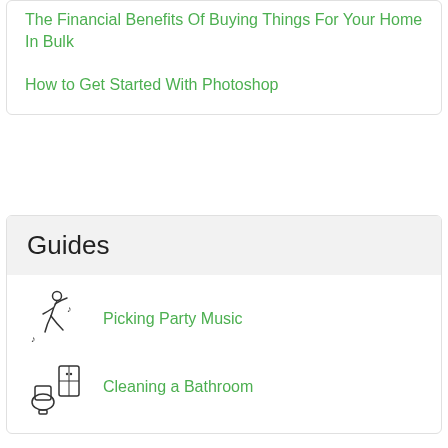The Financial Benefits Of Buying Things For Your Home In Bulk
How to Get Started With Photoshop
Guides
Picking Party Music
Cleaning a Bathroom